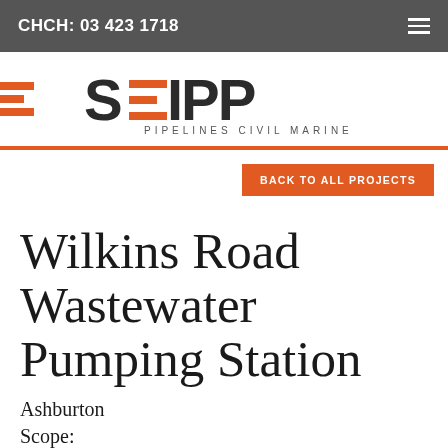CHCH: 03 423 1718
[Figure (logo): SEIPP Pipelines Civil Marine logo with orange stripe decoration on the left]
BACK TO ALL PROJECTS
Wilkins Road Wastewater Pumping Station
Ashburton
Scope: